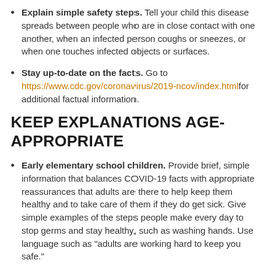Explain simple safety steps. Tell your child this disease spreads between people who are in close contact with one another, when an infected person coughs or sneezes, or when one touches infected objects or surfaces.
Stay up-to-date on the facts. Go to https://www.cdc.gov/coronavirus/2019-ncov/index.html for additional factual information.
KEEP EXPLANATIONS AGE-APPROPRIATE
Early elementary school children. Provide brief, simple information that balances COVID-19 facts with appropriate reassurances that adults are there to help keep them healthy and to take care of them if they do get sick. Give simple examples of the steps people make every day to stop germs and stay healthy, such as washing hands. Use language such as "adults are working hard to keep you safe."
Upper elementary and early middle school children. This age group often is more vocal in asking questions about